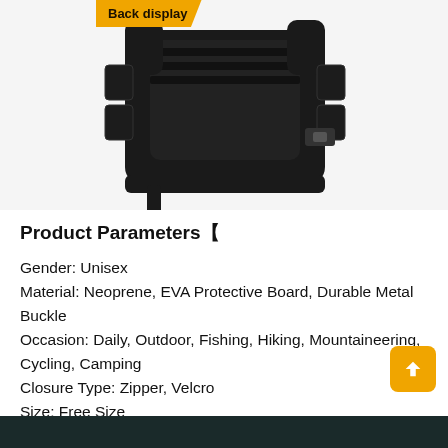[Figure (photo): Black tactical vest/plate carrier shown from the back, displayed on a white background. An orange label with 'Back display' text appears in the upper left of the image area.]
Product Parameters【
Gender: Unisex
Material: Neoprene, EVA Protective Board, Durable Metal Buckle
Occasion: Daily, Outdoor, Fishing, Hiking, Mountaineering, Cycling, Camping
Closure Type: Zipper, Velcro
Size: Free Size
Max Bust Size: 51.2inch (130cm)
Max Waistline Size: 45.3inch (115cm)